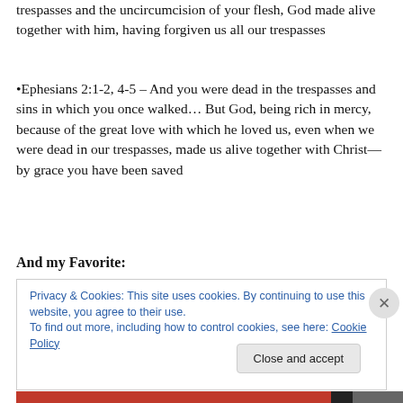trespasses and the uncircumcision of your flesh, God made alive together with him, having forgiven us all our trespasses
•Ephesians 2:1-2, 4-5 – And you were dead in the trespasses and sins in which you once walked… But God, being rich in mercy, because of the great love with which he loved us, even when we were dead in our trespasses, made us alive together with Christ—by grace you have been saved
And my Favorite:
Privacy & Cookies: This site uses cookies. By continuing to use this website, you agree to their use.
To find out more, including how to control cookies, see here: Cookie Policy